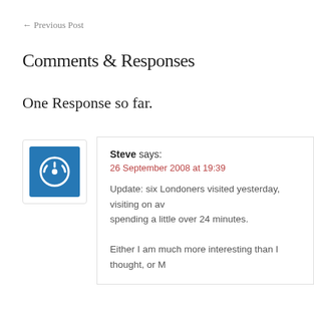← Previous Post
Comments & Responses
One Response so far.
Steve says:
26 September 2008 at 19:39
Update: six Londoners visited yesterday, visiting on av spending a little over 24 minutes.

Either I am much more interesting than I thought, or M